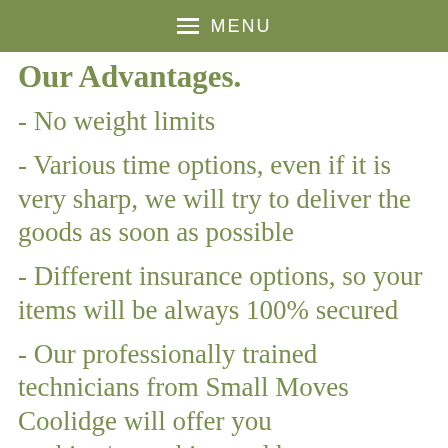MENU
Our Advantages.
- No weight limits
- Various time options, even if it is very sharp, we will try to deliver the goods as soon as possible
- Different insurance options, so your items will be always 100% secured
- Our professionally trained technicians from Small Moves Coolidge will offer you packing/unpacking and heavy